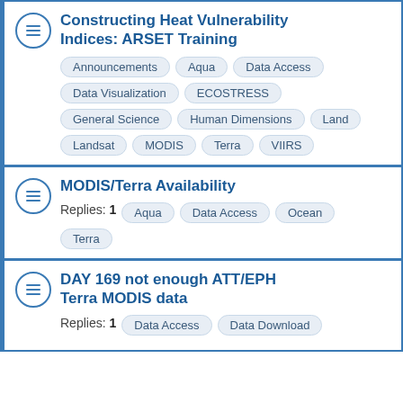Constructing Heat Vulnerability Indices: ARSET Training
Announcements, Aqua, Data Access, Data Visualization, ECOSTRESS, General Science, Human Dimensions, Land, Landsat, MODIS, Terra, VIIRS
MODIS/Terra Availability
Replies: 1
Aqua, Data Access, Ocean, Terra
DAY 169 not enough ATT/EPH Terra MODIS data
Replies: 1
Data Access, Data Download